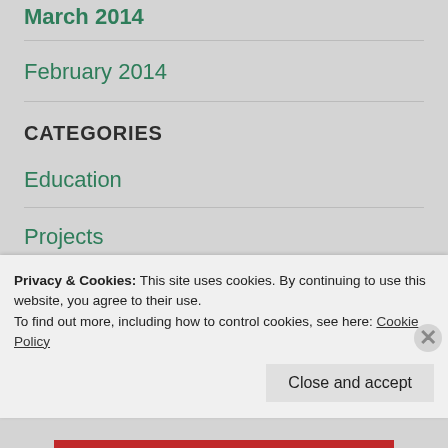March 2014
February 2014
CATEGORIES
Education
Projects
Travel
Privacy & Cookies: This site uses cookies. By continuing to use this website, you agree to their use.
To find out more, including how to control cookies, see here: Cookie Policy
Close and accept